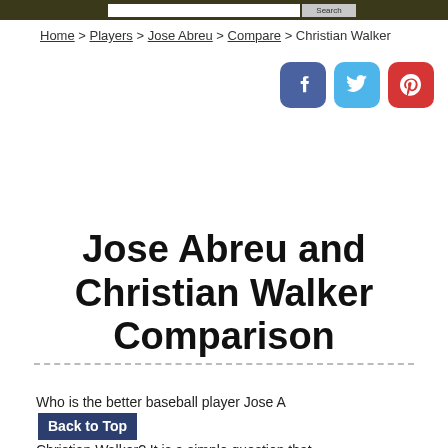Home > Players > Jose Abreu > Compare > Christian Walker
Jose Abreu and Christian Walker Comparison
Who is the better baseball player Jose Abreu or Christian Walker? It is a simple question that does not always have a simple answer. I assume that if you are here